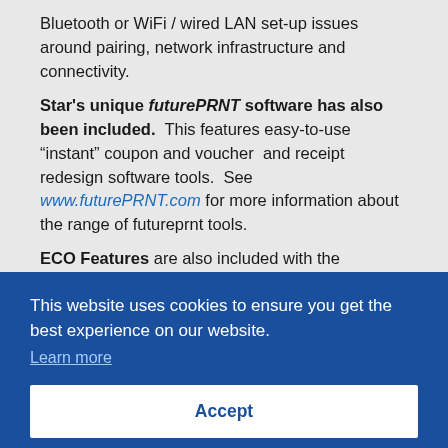Bluetooth or WiFi / wired LAN set-up issues around pairing, network infrastructure and connectivity.
Star's unique futurePRNT software has also been included. This features easy-to-use “instant” coupon and voucher and receipt redesign software tools. See www.futurePRNT.com for more information about the range of futureprnt tools.
ECO Features are also included with the TSP143IIIU with both horizontal and vertical text reduction to
This website uses cookies to ensure you get the best experience on our website. Learn more
Accept
AllReceipts™, fast, free, and secure digital receipt